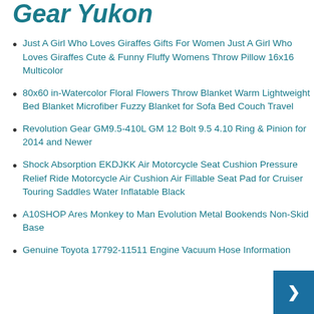Gear Yukon
Just A Girl Who Loves Giraffes Gifts For Women Just A Girl Who Loves Giraffes Cute & Funny Fluffy Womens Throw Pillow 16x16 Multicolor
80x60 in-Watercolor Floral Flowers Throw Blanket Warm Lightweight Bed Blanket Microfiber Fuzzy Blanket for Sofa Bed Couch Travel
Revolution Gear GM9.5-410L GM 12 Bolt 9.5 4.10 Ring & Pinion for 2014 and Newer
Shock Absorption EKDJKK Air Motorcycle Seat Cushion Pressure Relief Ride Motorcycle Air Cushion Air Fillable Seat Pad for Cruiser Touring Saddles Water Inflatable Black
A10SHOP Ares Monkey to Man Evolution Metal Bookends Non-Skid Base
Genuine Toyota 17792-11511 Engine Vacuum Hose Information